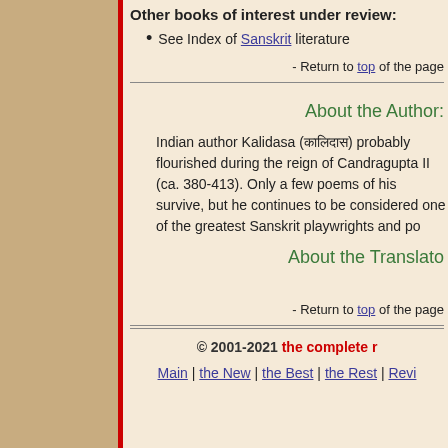Other books of interest under review:
See Index of Sanskrit literature
- Return to top of the page
About the Author:
Indian author Kalidasa (कालिदास) probably flourished during the reign of Candragupta II (ca. 380-413). Only a few poems of his survive, but he continues to be considered one of the greatest Sanskrit playwrights and poets.
About the Translator:
- Return to top of the page
© 2001-2021 the complete r
Main | the New | the Best | the Rest | Revi